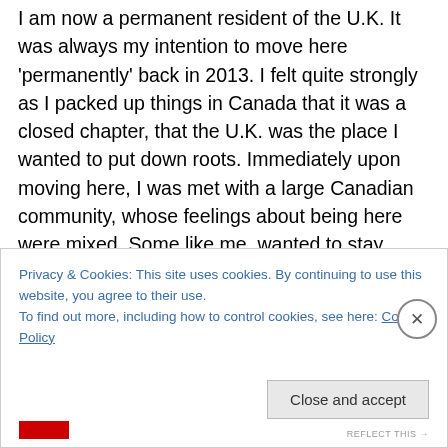I am now a permanent resident of the U.K. It was always my intention to move here 'permanently' back in 2013. I felt quite strongly as I packed up things in Canada that it was a closed chapter, that the U.K. was the place I wanted to put down roots. Immediately upon moving here, I was met with a large Canadian community, whose feelings about being here were mixed. Some like me, wanted to stay indefinitely, some were counting down the days until they were back on Canadian soil and others weren't sure where they fit, going elsewhere or leaving or staying in the U.K. by accident, wishing they were in the other place
Privacy & Cookies: This site uses cookies. By continuing to use this website, you agree to their use.
To find out more, including how to control cookies, see here: Cookie Policy